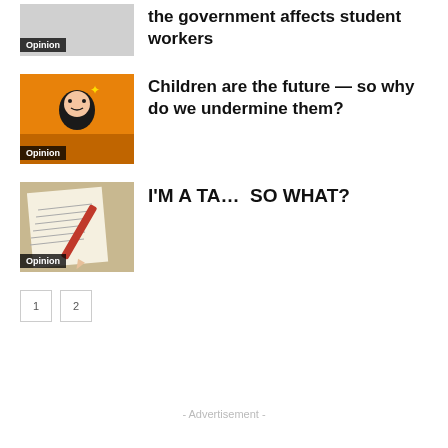[Figure (illustration): Grey thumbnail with Opinion badge — article about unionization and how the government affects student workers]
the government affects student workers
[Figure (illustration): Orange background with animated crying character — Opinion badge]
Children are the future — so why do we undermine them?
[Figure (illustration): Paper and red pen on brown background — Opinion badge]
I'M A TA…  SO WHAT?
Pagination buttons: 1, 2
- Advertisement -